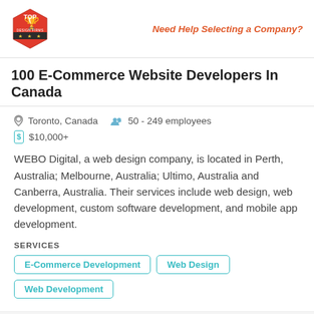[Figure (logo): Top Design Firms logo — red hexagon badge with trophy icon and banner]
Need Help Selecting a Company?
100 E-Commerce Website Developers In Canada
Toronto, Canada   50 - 249 employees
$10,000+
WEBO Digital, a web design company, is located in Perth, Australia; Melbourne, Australia; Ultimo, Australia and Canberra, Australia. Their services include web design, web development, custom software development, and mobile app development.
SERVICES
E-Commerce Development
Web Design
Web Development